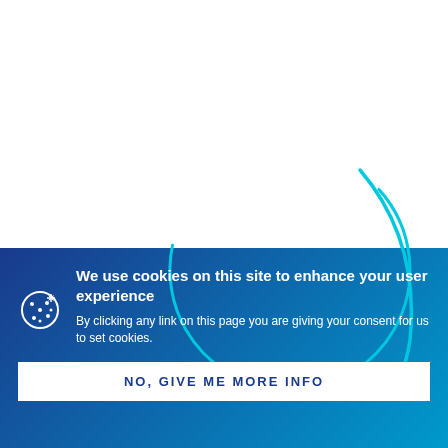[Figure (illustration): Light cyan arc/circle decoration on white background transitioning to blue gradient]
We use cookies on this site to enhance your user experience
By clicking any link on this page you are giving your consent for us to set cookies.
NO, GIVE ME MORE INFO